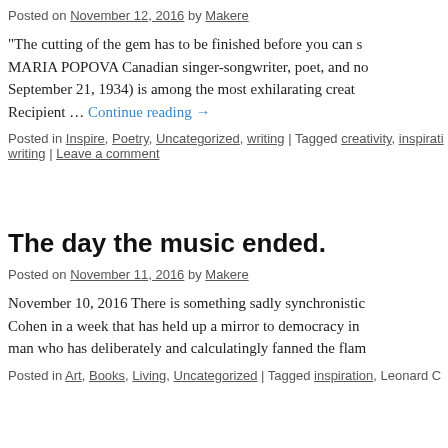Posted on November 12, 2016 by Makere
“The cutting of the gem has to be finished before you can s… MARIA POPOVA Canadian singer-songwriter, poet, and no… September 21, 1934) is among the most exhilarating creat… Recipient … Continue reading →
Posted in Inspire, Poetry, Uncategorized, writing | Tagged creativity, inspirati… writing | Leave a comment
The day the music ended.
Posted on November 11, 2016 by Makere
November 10, 2016 There is something sadly synchronistic… Cohen in a week that has held up a mirror to democracy in… man who has deliberately and calculatingly fanned the flam…
Posted in Art, Books, Living, Uncategorized | Tagged inspiration, Leonard C…